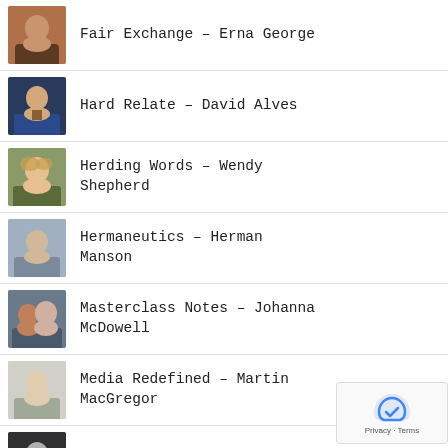Fair Exchange – Erna George
Hard Relate – David Alves
Herding Words – Wendy Shepherd
Hermaneutics – Herman Manson
Masterclass Notes – Johanna McDowell
Media Redefined – Martin MacGregor
Mission – Tom Fels